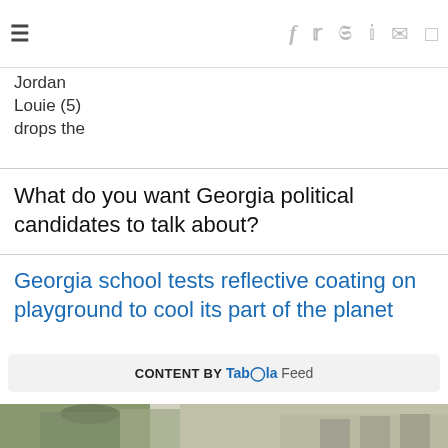hamburger menu and social share icons: Facebook, Twitter, Pinterest, Reddit, Email, Comment
Jordan
Louie (5)
drops the
What do you want Georgia political candidates to talk about?
Georgia school tests reflective coating on playground to cool its part of the planet
CONTENT BY Taboola Feed
[Figure (photo): Person in military camouflage uniform leaning against washing machines in a laundromat]